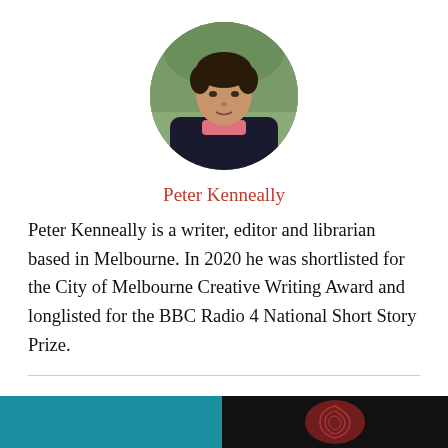[Figure (photo): Circular cropped headshot of Peter Kenneally, a middle-aged man with dark curly hair, wearing a dark jacket over a pink shirt, photographed outdoors with a blurred green background.]
Peter Kenneally
Peter Kenneally is a writer, editor and librarian based in Melbourne. In 2020 he was shortlisted for the City of Melbourne Creative Writing Award and longlisted for the BBC Radio 4 National Short Story Prize.
[Figure (photo): Bottom strip showing partial images: teal/blue color on the left, a dark background with a reddish fingerprint or abstract swirl pattern on the right.]